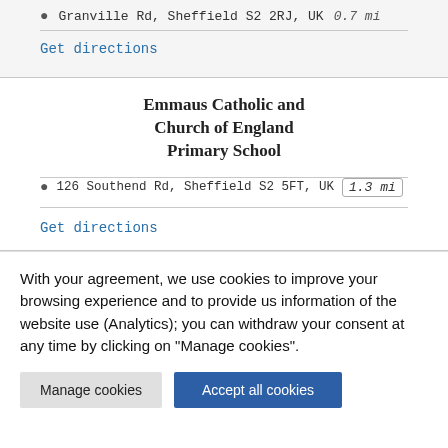Granville Rd, Sheffield S2 2RJ, UK   0.7 mi
Get directions
Emmaus Catholic and Church of England Primary School
126 Southend Rd, Sheffield S2 5FT, UK   1.3 mi
Get directions
With your agreement, we use cookies to improve your browsing experience and to provide us information of the website use (Analytics); you can withdraw your consent at any time by clicking on "Manage cookies".
Manage cookies
Accept all cookies